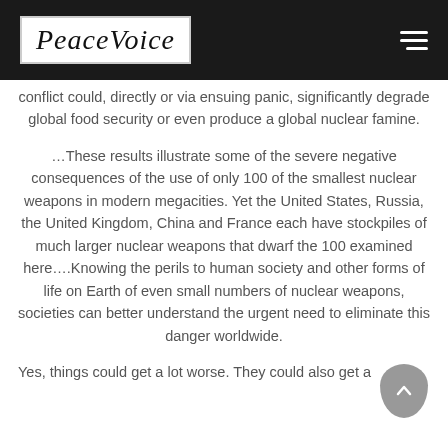PeaceVoice
conflict could, directly or via ensuing panic, significantly degrade global food security or even produce a global nuclear famine.
…These results illustrate some of the severe negative consequences of the use of only 100 of the smallest nuclear weapons in modern megacities. Yet the United States, Russia, the United Kingdom, China and France each have stockpiles of much larger nuclear weapons that dwarf the 100 examined here….Knowing the perils to human society and other forms of life on Earth of even small numbers of nuclear weapons, societies can better understand the urgent need to eliminate this danger worldwide.
Yes, things could get a lot worse. They could also get a